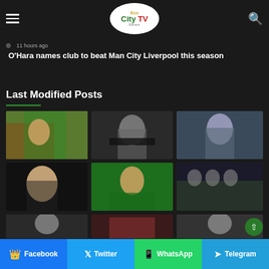Eco City TV News
11 hours ago
…e way… at Nevin singles out Chelsea star after late victory
11 hours ago
O'Hara names club to beat Man City Liverpool this season
Last Modified Posts
[Figure (photo): Female athlete celebrating with Nigerian flag]
[Figure (photo): Man speaking into microphone with headphones]
[Figure (photo): Male sports player portrait]
[Figure (photo): Erling Haaland portrait smiling]
[Figure (photo): Wrestler with Nigerian flag raised]
[Figure (photo): Team group photo]
[Figure (photo): Partial image row 3 left]
[Figure (photo): Partial image row 3 center]
[Figure (photo): Partial image row 3 right]